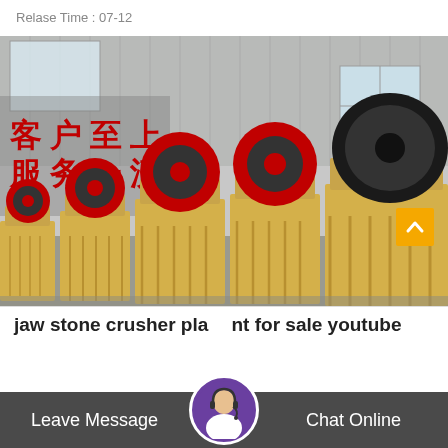Relase Time : 07-12
[Figure (photo): Factory warehouse with a row of yellow jaw crusher machines with large red and black flywheels. Chinese characters on wall read customer-first, service-first. Corrugated metal walls and windows in background.]
jaw stone crusher plant for sale youtube
Leave Message | Chat Online